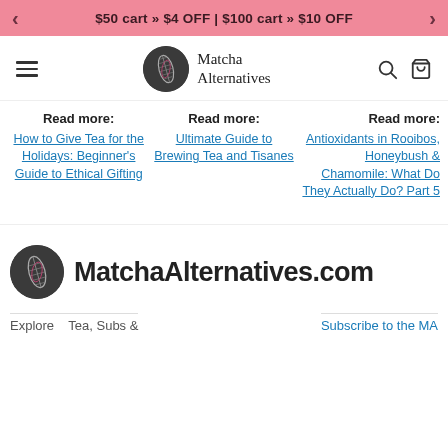$50 cart » $4 OFF | $100 cart » $10 OFF
[Figure (logo): Matcha Alternatives logo with circular leaf emblem and site name]
Read more: How to Give Tea for the Holidays: Beginner's Guide to Ethical Gifting
Read more: Ultimate Guide to Brewing Tea and Tisanes
Read more: Antioxidants in Rooibos, Honeybush & Chamomile: What Do They Actually Do? Part 5
[Figure (logo): MatchaAlternatives.com footer logo with circular leaf emblem]
Subscribe to the MA